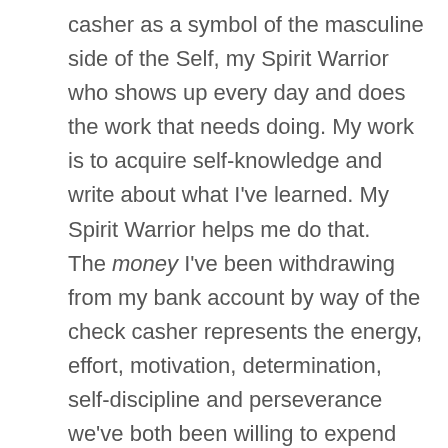casher as a symbol of the masculine side of the Self, my Spirit Warrior who shows up every day and does the work that needs doing. My work is to acquire self-knowledge and write about what I've learned. My Spirit Warrior helps me do that. The money I've been withdrawing from my bank account by way of the check casher represents the energy, effort, motivation, determination, self-discipline and perseverance we've both been willing to expend on my soul's passion. And the fact that he returned it double-fold feels like a reward for my efforts and shows me how much value he places on our work together.